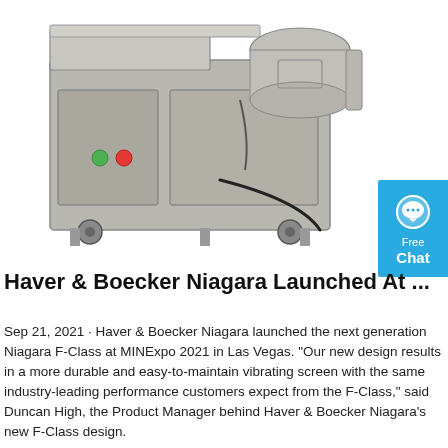[Figure (photo): A stainless steel industrial vibrating screen machine on wheels, showing green and red indicator buttons on the front panel, with cables and cylindrical components on top.]
Haver & Boecker Niagara Launched At ...
Sep 21, 2021 · Haver & Boecker Niagara launched the next generation Niagara F-Class at MINExpo 2021 in Las Vegas. "Our new design results in a more durable and easy-to-maintain vibrating screen with the same industry-leading performance customers expect from the F-Class," said Duncan High, the Product Manager behind Haver & Boecker Niagara's new F-Class design.